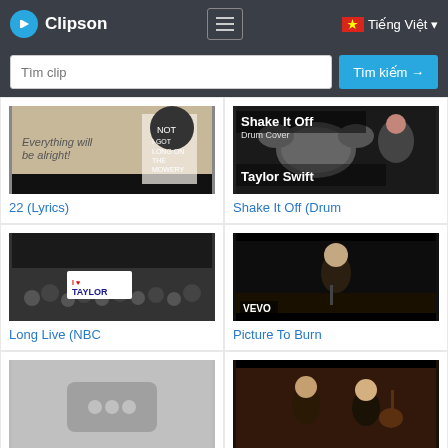Clipson — Tìm clip — Tìm kiếm — Tiếng Việt
[Figure (screenshot): Thumbnail for '22 (Lyrics)' video — woman in hat and graphic tee with lyrics overlay]
22 (Lyrics)
[Figure (screenshot): Thumbnail for 'Shake It Off (Drum)' video — drum kit and Taylor Swift with text overlay 'Shake It Off Drum Cover Taylor Swift']
Shake It Off (Drum
[Figure (screenshot): Thumbnail for 'Long Live (NBC)' video — crowd scene with 'I Love Taylor' sign]
Long Live (NBC
[Figure (screenshot): Thumbnail for 'Picture To Burn' video — VEVO branding, performer on stage with dark background]
Picture To Burn
[Figure (screenshot): Thumbnail placeholder — grey box with three dots]
[Figure (screenshot): Thumbnail — performer in dark scene with guitar player]